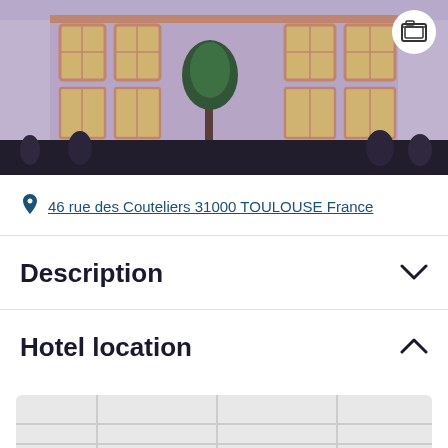[Figure (photo): Hotel exterior building photo showing a European-style courtyard at night with illuminated arched windows and purple-tinted lighting, people visible in background]
46 rue des Couteliers 31000 TOULOUSE France
Description
Hotel location
[Figure (map): Map area placeholder showing hotel location]
See rates